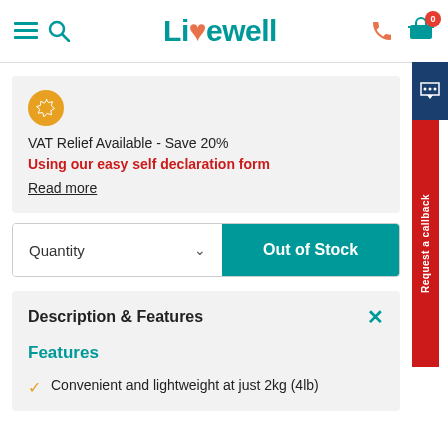Livewell — navigation header with menu, search, phone, and cart icons
VAT Relief Available - Save 20%
Using our easy self declaration form
Read more
Quantity  ∨  Out of Stock
Description & Features
Features
Convenient and lightweight at just 2kg (4lb)